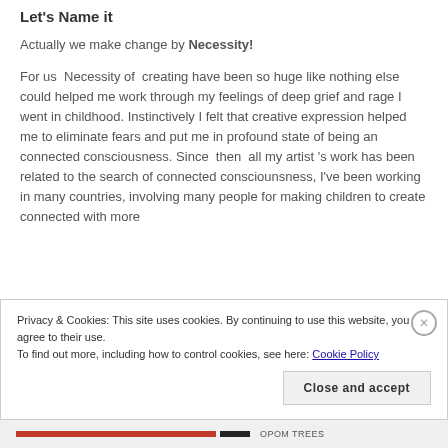Let's Name it
Actually we make change by Necessity!
For us  Necessity of  creating have been so huge like nothing else could helped me work through my feelings of deep grief and rage I went in childhood. Instinctively I felt that creative expression helped me to eliminate fears and put me in profound state of being an connected consciousness. Since  then  all my artist 's work has been related to the search of connected consciounsness, I've been working in many countries, involving many people for making children to create connected with more
Privacy & Cookies: This site uses cookies. By continuing to use this website, you agree to their use.
To find out more, including how to control cookies, see here: Cookie Policy
Close and accept